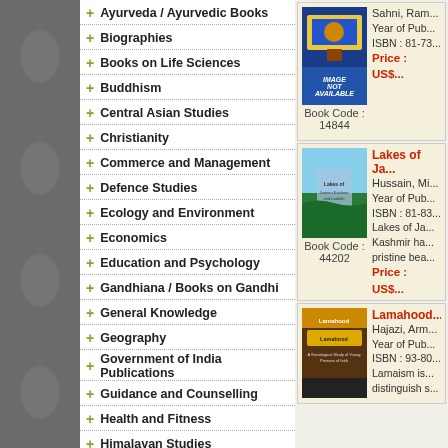+ Ayurveda / Ayurvedic Books
+ Biographies
+ Books on Life Sciences
+ Buddhism
+ Central Asian Studies
+ Christianity
+ Commerce and Management
+ Defence Studies
+ Ecology and Environment
+ Economics
+ Education and Psychology
+ Gandhiana / Books on Gandhi
+ General Knowledge
+ Geography
+ Government of India Publications
+ Guidance and Counselling
+ Health and Fitness
+ Himalayan Studies
+ Hinduism
+ History
+ Human Rights
+ Information Technology
Book Code : 14844
Sahni, Ram...
Year of Pub... ISBN : 81-73... Price : US$...
Lakes of Ja... Hussain, Mi...
Book Code : 44202
Year of Pub... ISBN : 81-83... Lakes of Ja... Kashmir ha... pristine bea... Price : US$...
Lamahood... Hajazi, Arm...
Year of Pub... ISBN : 93-80... Lamaism is... distinguish s...